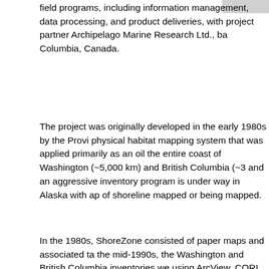field programs, including information management, data processing, and product deliveries, with project partner Archipelago Marine Research Ltd., ba Columbia, Canada.
The project was originally developed in the early 1980s by the Provi physical habitat mapping system that was applied primarily as an oil the entire coast of Washington (~5,000 km) and British Columbia (~3 and an aggressive inventory program is under way in Alaska with ap of shoreline mapped or being mapped.
In the 1980s, ShoreZone consisted of paper maps and associated ta the mid-1990s, the Washington and British Columbia inventories we using ArcView. CORI has since continued to move forward with Esri of new developments in ArcGIS Desktop and ArcGIS Server techno CORI has been able to map approximately 10 times the amount of c before.
"The move to GIS enabled us to capture and manipulate many times were able to previously and has made the process of data maintena efficient and accurate," says John Harper, marine geologist and COR
Before moving to GIS, CORI's database of choice was inherently de linkages were vulnerable. Now, incorrect linkages are immediately fl that were previously devoted to data proofing while dramatically im